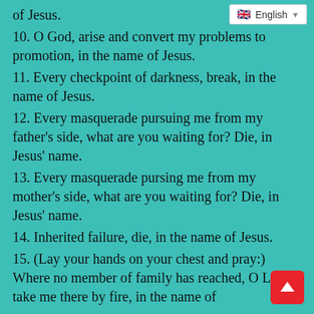9. O God, confirm my right… of Jesus.
English
10. O God, arise and convert my problems to promotion, in the name of Jesus.
11. Every checkpoint of darkness, break, in the name of Jesus.
12. Every masquerade pursuing me from my father's side, what are you waiting for? Die, in Jesus' name.
13. Every masquerade pursing me from my mother's side, what are you waiting for? Die, in Jesus' name.
14. Inherited failure, die, in the name of Jesus.
15. (Lay your hands on your chest and pray:) Where no member of family has reached, O Lord, take me there by fire, in the name of